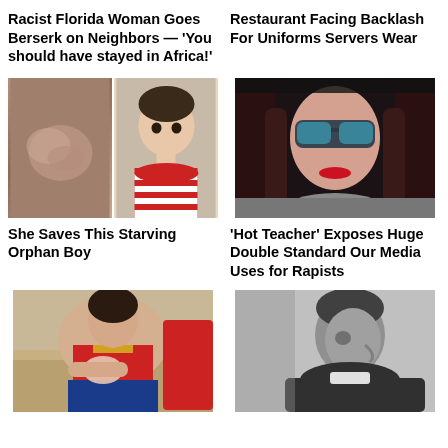Racist Florida Woman Goes Berserk on Neighbors — ‘You should have stayed in Africa!’
Restaurant Facing Backlash For Uniforms Servers Wear
[Figure (photo): Two-photo collage: left shows a newborn/infant sleeping, right shows a young toddler boy in red and white striped shirt]
[Figure (photo): Young woman with long dark reddish-brown hair wearing aviator sunglasses, photo taken from above]
She Saves This Starving Orphan Boy
‘Hot Teacher’ Exposes Huge Double Standard Our Media Uses for Rapists
[Figure (photo): Woman in Wonder Woman costume breastfeeding a baby while seated on a couch]
[Figure (photo): Black and white photo of a man in profile looking downward, wearing a dark jacket]